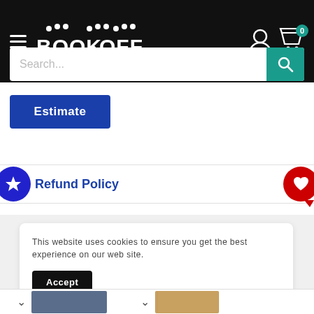[Figure (screenshot): BOOK-OFF website header with hamburger menu, logo, user icon, cart icon with badge '0', and teal search bar]
[Figure (screenshot): Blue 'Estimate' button on white background]
[Figure (screenshot): Refund Policy link with blue star badge on left and red heart badge on right, between horizontal dividers]
This website uses cookies to ensure you get the best experience on our web site.
[Figure (screenshot): Black 'Accept' button in cookie consent banner]